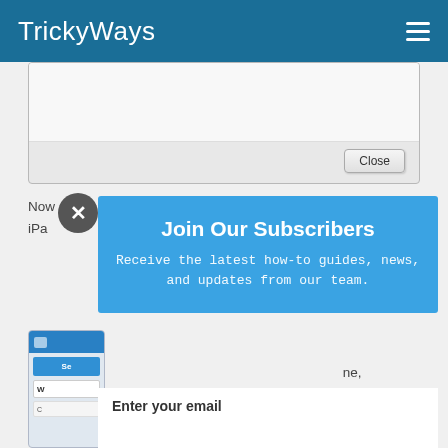TrickyWays
[Figure (screenshot): Screenshot of a dialog box with a Close button]
Now conn one, iPad
[Figure (screenshot): Close X circle button overlay on popup]
[Figure (infographic): Blue popup overlay: Join Our Subscribers. Receive the latest how-to guides, news, and updates from our team.]
I have diffe ne, PC a
[Figure (screenshot): Phone screenshot with settings interface]
Enter your email
Subscribe